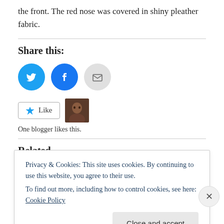the front. The red nose was covered in shiny pleather fabric.
Share this:
[Figure (infographic): Three circular social share buttons: Twitter (blue), Facebook (blue), Email (grey)]
[Figure (infographic): Like button with star icon and a blogger avatar thumbnail. Text: One blogger likes this.]
Related
Privacy & Cookies: This site uses cookies. By continuing to use this website, you agree to their use.
To find out more, including how to control cookies, see here: Cookie Policy
Close and accept